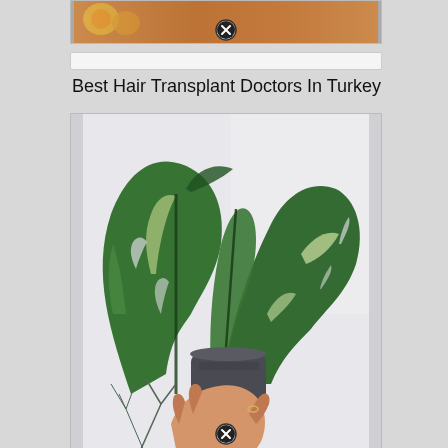[Figure (photo): Partial top image strip showing colorful flowers/image with a close (X) button overlay at bottom center]
Best Hair Transplant Doctors In Turkey
[Figure (photo): A person holding a variegated Monstera plant in a dark gray pot. Large green and white speckled leaves. A hand visible at the bottom holding the pot. Background shows light gray wall and small decorative plants at bottom. A close (X) button at the bottom center of the image.]